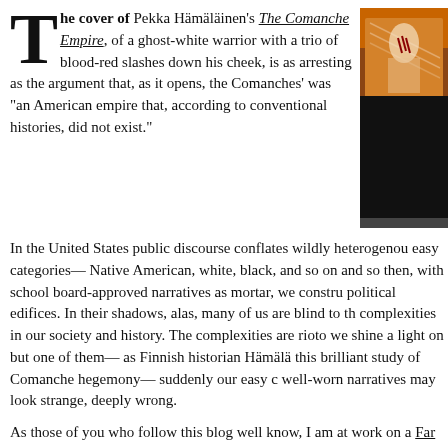The cover of Pekka Hämäläinen's The Comanche Empire, of a ghost-white warrior with a trio of blood-red slashes down his cheek, is as arresting as the argument that, as it opens, the Comanches' was "an American empire that, according to conventional histories, did not exist."
[Figure (photo): Book cover of The Comanche Empire shown vertically on right side, depicting a Native American warrior figure with text 'Comanche Empire' running vertically]
In the United States public discourse conflates wildly heterogenous easy categories— Native American, white, black, and so on and so then, with school board-approved narratives as mortar, we constru political edifices. In their shadows, alas, many of us are blind to th complexities in our society and history. The complexities are rioto we shine a light on but one of them— as Finnish historian Hämälä this brilliant study of Comanche hegemony— suddenly our easy c well-worn narratives may look strange, deeply wrong.
As those of you who follow this blog well know, I am at work on a Far West Texas, that is, Texas west of the Pecos River. Anyone wh there, especially to the remote Big Bend, hears about Comanches, crossed the Río Grande here, they watered their horses there. But t Comanches, an equestrian Plains people who hunted the buffalo, w latecomers to the Trans-Pecos. They did not settle there; they trek